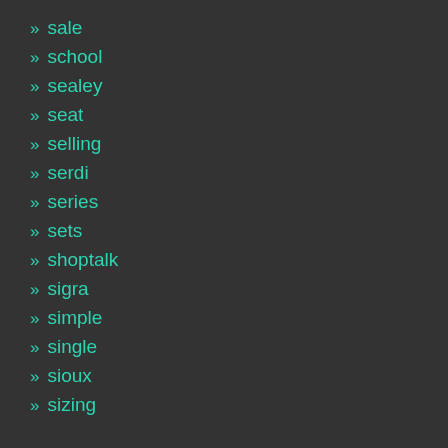» sale
» school
» sealey
» seat
» selling
» serdi
» series
» sets
» shoptalk
» sigra
» simple
» single
» sioux
» sizing